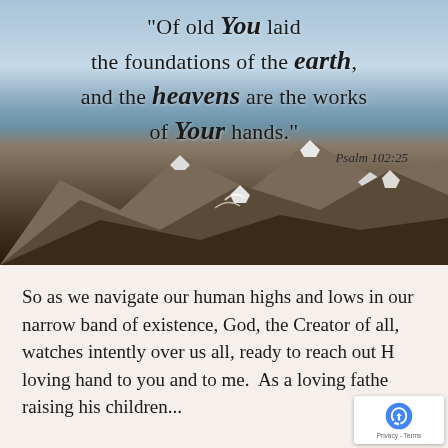[Figure (photo): Snow-capped mountain range under a cloudy sky with a biblical quote overlaid on the upper portion]
"Of old You laid the foundations of the earth, and the heavens are the works of Your hands."
Psalm 102:25
So as we navigate our human highs and lows in our narrow band of existence, God, the Creator of all, watches intently over us all, ready to reach out His loving hand to you and to me.  As a loving father raising his children...